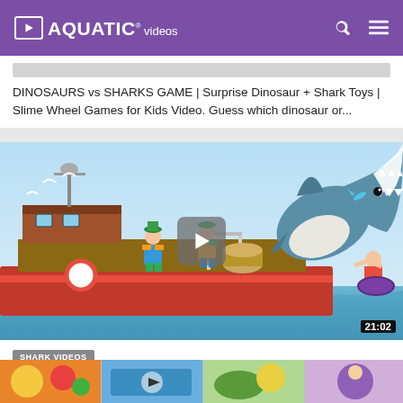AQUATIC® videos
DINOSAURS vs SHARKS GAME | Surprise Dinosaur + Shark Toys | Slime Wheel Games for Kids Video. Guess which dinosaur or...
[Figure (screenshot): Video thumbnail showing Hungry Shark Evolution game scene with a giant shark attacking people on a boat, with play button overlay and duration 21:02]
SHARK VIDEOS
HUNGRY SHARK EVOLUTION: MEGALODON #2
46,650 likes | 29,613,613 views | 7 years ago
Big Daddy https://www.youtube.com/watch?v=K6-KPd4tfAQ&index=25&list=PL0nbKWe8lMkK1Z0LfBCdx3viTQr5WBHCX Click Here to...
[Figure (screenshot): Row of four small video thumbnail images at the bottom of the page]